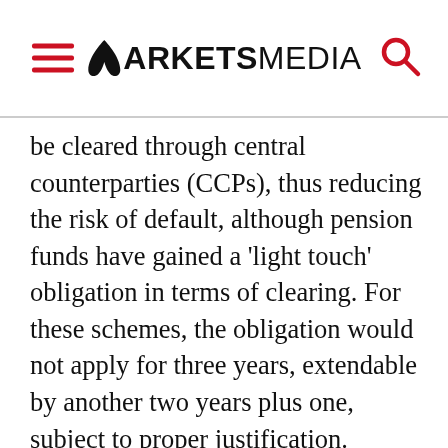MARKETS MEDIA
be cleared through central counterparties (CCPs), thus reducing the risk of default, although pension funds have gained a ‘light touch’ obligation in terms of clearing. For these schemes, the obligation would not apply for three years, extendable by another two years plus one, subject to proper justification.
“Once the industry has developed the appropriate technical solutions for the